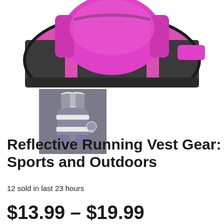[Figure (photo): Pink and black reflective running vest product photo, top portion showing the vest from above against a white background]
[Figure (illustration): Small thumbnail icon on gray background showing a stylized illustration of a person wearing a reflective running vest]
Reflective Running Vest Gear: Sports and Outdoors
12 sold in last 23 hours
$13.99 – $19.99